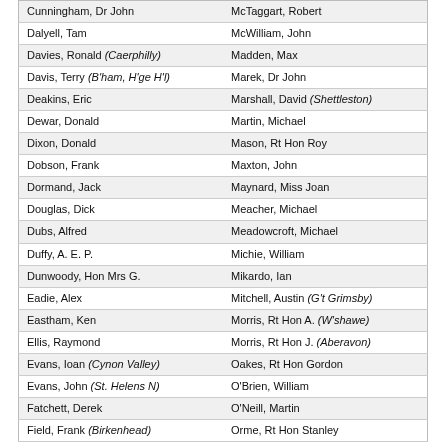| Cunningham, Dr John | McTaggart, Robert |
| Dalyell, Tam | McWilliam, John |
| Davies, Ronald (Caerphilly) | Madden, Max |
| Davis, Terry (B'ham, H'ge H'l) | Marek, Dr John |
| Deakins, Eric | Marshall, David (Shettleston) |
| Dewar, Donald | Martin, Michael |
| Dixon, Donald | Mason, Rt Hon Roy |
| Dobson, Frank | Maxton, John |
| Dormand, Jack | Maynard, Miss Joan |
| Douglas, Dick | Meacher, Michael |
| Dubs, Alfred | Meadowcroft, Michael |
| Duffy, A. E. P. | Michie, William |
| Dunwoody, Hon Mrs G. | Mikardo, Ian |
| Eadie, Alex | Mitchell, Austin (G't Grimsby) |
| Eastham, Ken | Morris, Rt Hon A. (W'shawe) |
| Ellis, Raymond | Morris, Rt Hon J. (Aberavon) |
| Evans, Ioan (Cynon Valley) | Oakes, Rt Hon Gordon |
| Evans, John (St. Helens N) | O'Brien, William |
| Fatchett, Derek | O'Neill, Martin |
| Field, Frank (Birkenhead) | Orme, Rt Hon Stanley |